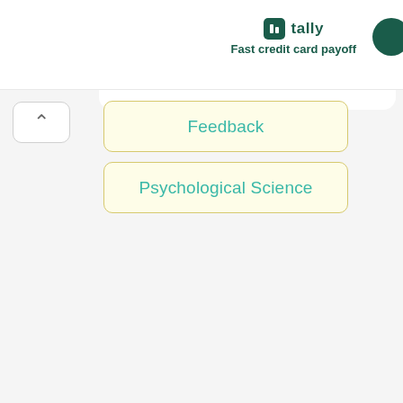tally — Fast credit card payoff
Feedback
Psychological Science